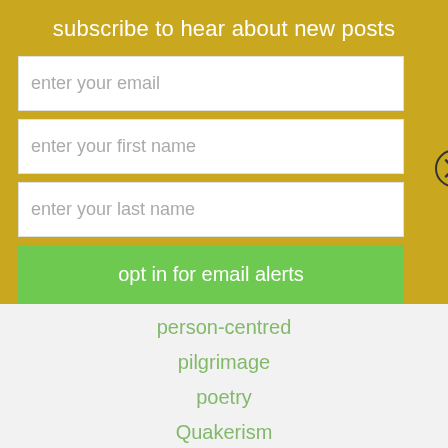subscribe to hear about new posts
enter your email
enter your first name
enter your last name
opt in for email alerts
person-centred
pilgrimage
poetry
Quakerism
reflection
running
singing
travel